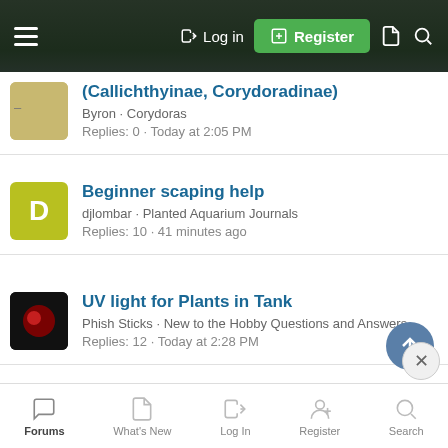Log in | Register
(Callichthyinae, Corydoradinae) · Byron · Corydoras · Replies: 0 · Today at 2:05 PM
Beginner scaping help · djlombar · Planted Aquarium Journals · Replies: 10 · 41 minutes ago
UV light for Plants in Tank · Phish Sticks · New to the Hobby Questions and Answers · Replies: 12 · Today at 2:28 PM
Can aquatic plants live without light? · VioletThePurple · Planted Chit Chat
Forums · What's New · Log In · Register · Search